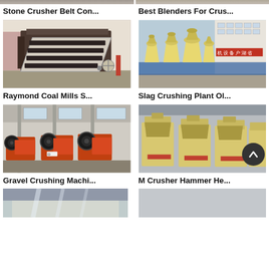[Figure (photo): Partial top strip showing two cropped machinery photos]
Stone Crusher Belt Con...
Best Blenders For Crus...
[Figure (photo): Raymond coal mill screening machines in industrial warehouse]
[Figure (photo): Slag crushing plant - row of cone crushers outdoors]
Raymond Coal Mills S...
Slag Crushing Plant Ol...
[Figure (photo): Gravel crushing jaw crusher machines, orange, in factory]
[Figure (photo): M Crusher Hammer - row of yellow impact crushers in factory]
Gravel Crushing Machi...
M Crusher Hammer He...
[Figure (photo): Partial bottom row showing start of another machinery photo]